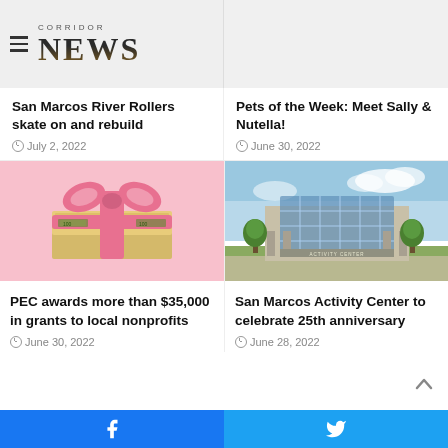CORRIDOR NEWS
San Marcos River Rollers skate on and rebuild
July 2, 2022
Pets of the Week: Meet Sally & Nutella!
June 30, 2022
[Figure (photo): Stack of $100 bills tied with a pink ribbon bow on a pink background]
PEC awards more than $35,000 in grants to local nonprofits
June 30, 2022
[Figure (photo): Exterior of San Marcos Activity Center building with glass facade and trees]
San Marcos Activity Center to celebrate 25th anniversary
June 28, 2022
Facebook | Twitter